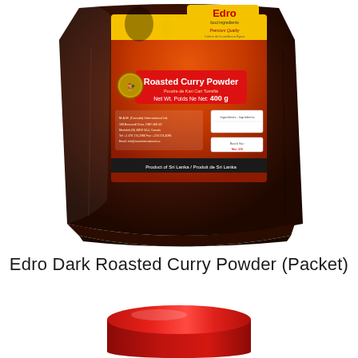[Figure (photo): A dark brown foil packet of Edro Roasted Curry Powder (400g). The packet has an orange/red label with the Edro brand name and logo at top, 'Roasted Curry Powder' text, net weight 400g, and 'Product of Sri Lanka' at the bottom. The label features decorative spice/vegetable imagery.]
Edro Dark Roasted Curry Powder (Packet)
[Figure (photo): A red cylindrical jar lid/container, viewed from slightly above, showing the top and side of a red plastic lid.]